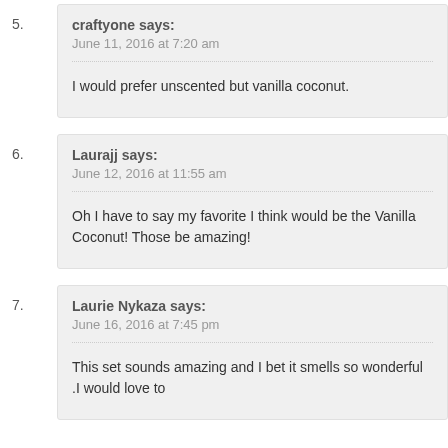5. craftyone says: June 11, 2016 at 7:20 am — I would prefer unscented but vanilla coconut.
6. Laurajj says: June 12, 2016 at 11:55 am — Oh I have to say my favorite I think would be the Vanilla Coconut! Those be amazing!
7. Laurie Nykaza says: June 16, 2016 at 7:45 pm — This set sounds amazing and I bet it smells so wonderful .I would love to